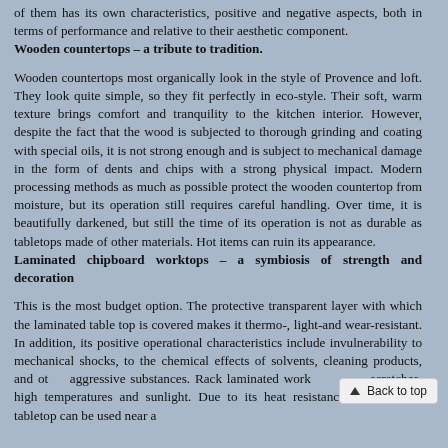of them has its own characteristics, positive and negative aspects, both in terms of performance and relative to their aesthetic component.
Wooden countertops – a tribute to tradition.
Wooden countertops most organically look in the style of Provence and loft. They look quite simple, so they fit perfectly in eco-style. Their soft, warm texture brings comfort and tranquility to the kitchen interior. However, despite the fact that the wood is subjected to thorough grinding and coating with special oils, it is not strong enough and is subject to mechanical damage in the form of dents and chips with a strong physical impact. Modern processing methods as much as possible protect the wooden countertop from moisture, but its operation still requires careful handling. Over time, it is beautifully darkened, but still the time of its operation is not as durable as tabletops made of other materials. Hot items can ruin its appearance.
Laminated chipboard worktops – a symbiosis of strength and decoration
This is the most budget option. The protective transparent layer with which the laminated table top is covered makes it thermo-, light-and wear-resistant. In addition, its positive operational characteristics include invulnerability to mechanical shocks, to the chemical effects of solvents, cleaning products, and other aggressive substances. Rack laminated work… scratches, high temperatures and sunlight. Due to its heat resistance, this type of tabletop can be used near a